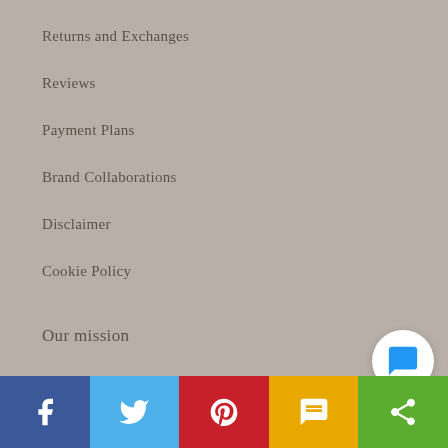Returns and Exchanges
Reviews
Payment Plans
Brand Collaborations
Disclaimer
Cookie Policy
Our mission
We take great care of our clients and reward our